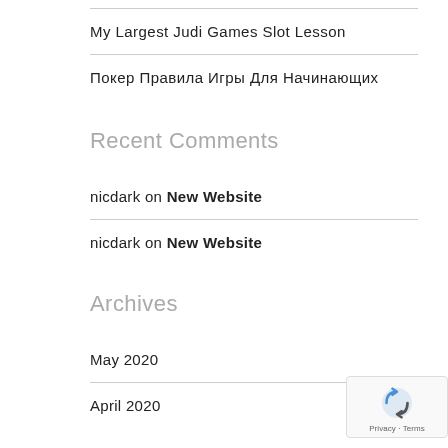My Largest Judi Games Slot Lesson
Покер Правила Игры Для Начинающих
Recent Comments
nicdark on New Website
nicdark on New Website
Archives
May 2020
April 2020